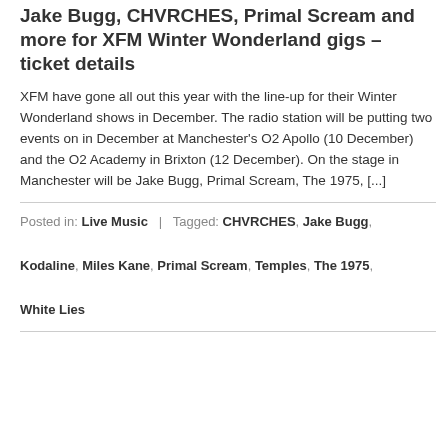Jake Bugg, CHVRCHES, Primal Scream and more for XFM Winter Wonderland gigs – ticket details
XFM have gone all out this year with the line-up for their Winter Wonderland shows in December. The radio station will be putting two events on in December at Manchester's O2 Apollo (10 December) and the O2 Academy in Brixton (12 December). On the stage in Manchester will be Jake Bugg, Primal Scream, The 1975, [...]
Posted in: Live Music | Tagged: CHVRCHES, Jake Bugg, Kodaline, Miles Kane, Primal Scream, Temples, The 1975, White Lies